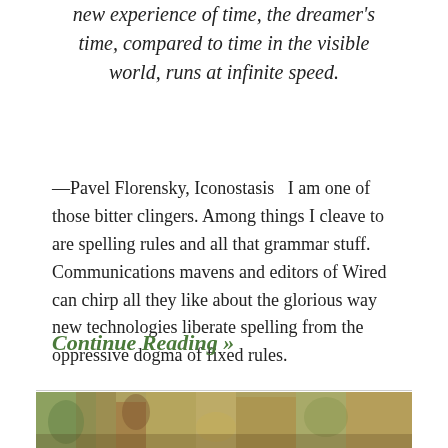new experience of time, the dreamer's time, compared to time in the visible world, runs at infinite speed.
—Pavel Florensky, Iconostasis   I am one of those bitter clingers. Among things I cleave to are spelling rules and all that grammar stuff. Communications mavens and editors of Wired can chirp all they like about the glorious way new technologies liberate spelling from the oppressive dogma of fixed rules.
Continue Reading »
[Figure (photo): A horizontal image strip at the bottom of the page showing what appears to be a painting or illustration with warm yellows, greens, and browns.]